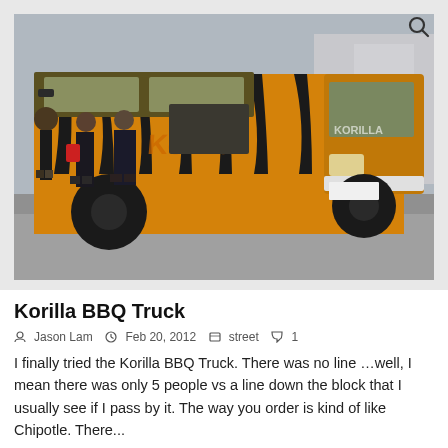[Figure (photo): Orange and black tiger-striped food truck (Korilla BBQ Truck) parked on a city street with people standing in line next to it. The truck has dramatic dripping black flame designs on the orange body. People in winter coats stand on the sidewalk. Urban street scene in winter/bare trees visible in background.]
Korilla BBQ Truck
Jason Lam  Feb 20, 2012  street  1
I finally tried the Korilla BBQ Truck. There was no line …well, I mean there was only 5 people vs a line down the block that I usually see if I pass by it. The way you order is kind of like Chipotle. There...